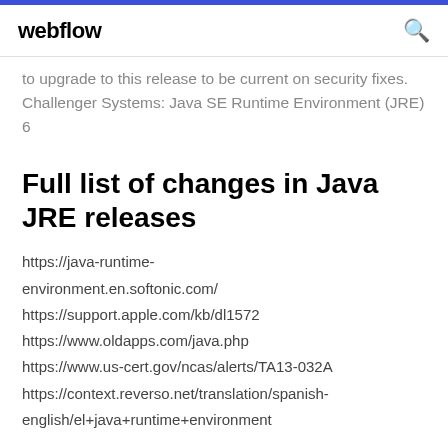webflow
to upgrade to this release to be current on security fixes. Challenger Systems: Java SE Runtime Environment (JRE) 6
Full list of changes in Java JRE releases
https://java-runtime-environment.en.softonic.com/
https://support.apple.com/kb/dl1572
https://www.oldapps.com/java.php
https://www.us-cert.gov/ncas/alerts/TA13-032A
https://context.reverso.net/translation/spanish-english/el+java+runtime+environment